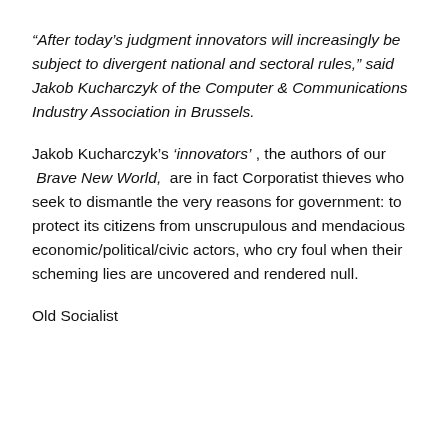“After today’s judgment innovators will increasingly be subject to divergent national and sectoral rules,” said Jakob Kucharczyk of the Computer & Communications Industry Association in Brussels.
Jakob Kucharczyk’s ‘innovators’ , the authors of our Brave New World, are in fact Corporatist thieves who seek to dismantle the very reasons for government: to protect its citizens from unscrupulous and mendacious economic/political/civic actors, who cry foul when their scheming lies are uncovered and rendered null.
Old Socialist